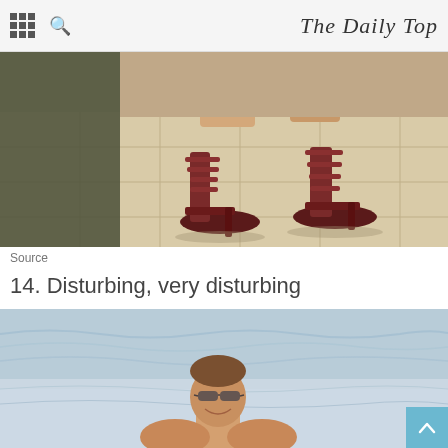The Daily Top
[Figure (photo): Close-up photo of woman's feet wearing dark red/burgundy strappy high-heel platform sandals, standing on a beige/cream tile floor. Other person partially visible on left.]
Source
14. Disturbing, very disturbing
[Figure (photo): Photo of a man in sunglasses smiling, standing in ocean water with waves/sea visible in background. Photo is cropped showing upper body and head.]